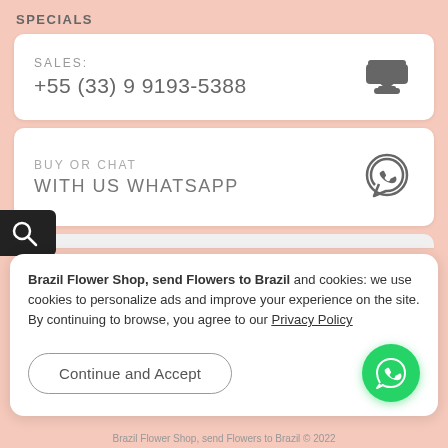SPECIALS
SALES:
+55 (33) 9 9193-5388
BUY OR CHAT
WITH US WHATSAPP
Brazil Flower Shop, send Flowers to Brazil and cookies: we use cookies to personalize ads and improve your experience on the site. By continuing to browse, you agree to our Privacy Policy
Continue and Accept
Brazil Flower Shop, send Flowers to Brazil © 2022